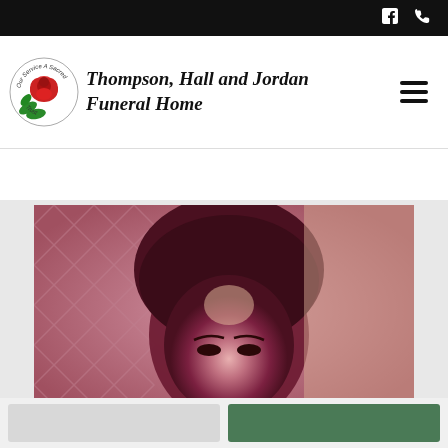Thompson, Hall and Jordan Funeral Home — website header with logo, company name, navigation icons (Facebook, phone, hamburger menu)
[Figure (photo): Close-up portrait photograph of a person with an afro hairstyle, shown with a pink/magenta color tint, against a patterned diamond-mesh background]
[Figure (other): Two buttons at the bottom of the page: a light gray button on the left and a dark green button on the right]